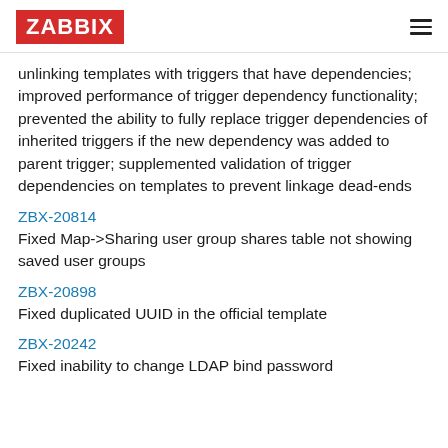ZABBIX
unlinking templates with triggers that have dependencies; improved performance of trigger dependency functionality; prevented the ability to fully replace trigger dependencies of inherited triggers if the new dependency was added to parent trigger; supplemented validation of trigger dependencies on templates to prevent linkage dead-ends
ZBX-20814
Fixed Map->Sharing user group shares table not showing saved user groups
ZBX-20898
Fixed duplicated UUID in the official template
ZBX-20242
Fixed inability to change LDAP bind password